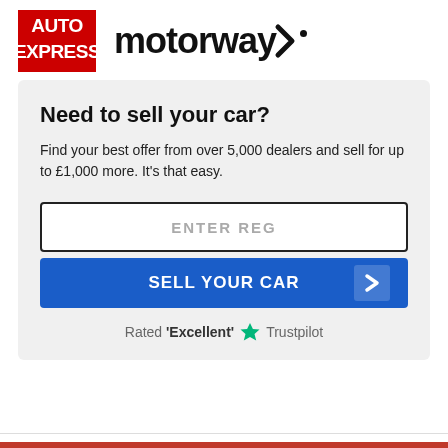[Figure (logo): Auto Express logo (red background with white bold text AUTO EXPRESS) and Motorway logo (black text 'motorway' with chevron arrow and dot)]
Need to sell your car?
Find your best offer from over 5,000 dealers and sell for up to £1,000 more. It's that easy.
[Figure (infographic): Input field with placeholder text ENTER REG, followed by a blue SELL YOUR CAR button with a right-pointing chevron arrow, and Trustpilot rating row showing Rated 'Excellent' with a green star and Trustpilot text]